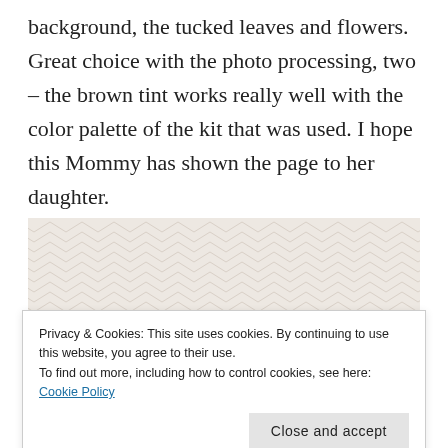background, the tucked leaves and flowers. Great choice with the photo processing, two – the brown tint works really well with the color palette of the kit that was used. I hope this Mommy has shown the page to her daughter.
[Figure (illustration): Chevron/zigzag patterned background in light beige/cream tones]
Privacy & Cookies: This site uses cookies. By continuing to use this website, you agree to their use.
To find out more, including how to control cookies, see here: Cookie Policy
[Figure (photo): Strip of photos at the bottom showing children/babies with pink and patterned backgrounds]